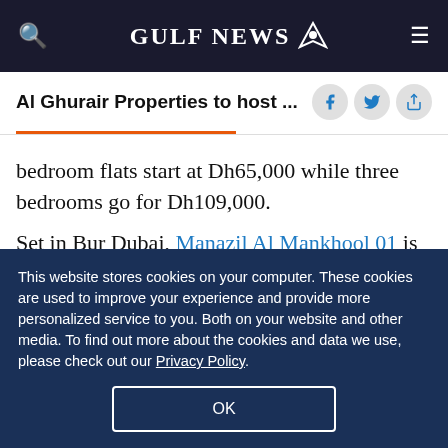GULF NEWS
Al Ghurair Properties to host ...
bedroom flats start at Dh65,000 while three bedrooms go for Dh109,000.
Set in Bur Dubai, Manazil Al Mankhool 01 is a high-rise offering beautiful views of the neighbourhood, thanks to its floor-to-ceiling windows. Complementing the striking views outside are the
This website stores cookies on your computer. These cookies are used to improve your experience and provide more personalized service to you. Both on your website and other media. To find out more about the cookies and data we use, please check out our Privacy Policy.